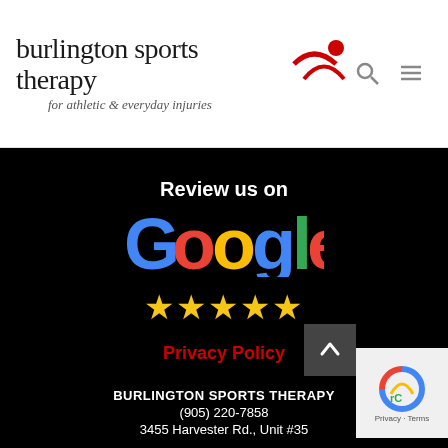[Figure (logo): Burlington Sports Therapy logo with stylized figure and text 'burlington sports therapy for athletic & everyday injuries']
Review us on
[Figure (logo): Google logo in multicolor (blue, red, yellow, blue, green, red)]
★★★★★
Privacy Policy
BURLINGTON SPORTS THERAPY
(905) 220-7858
3455 Harvester Rd., Unit #35